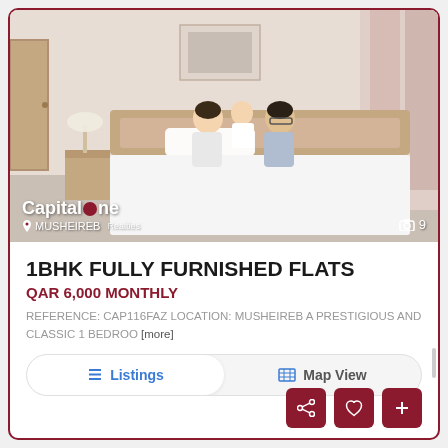[Figure (photo): Real estate listing photo showing a family (woman, baby, man) sitting on a bed in a furnished bedroom with pink curtains and light walls. Capital One Realties / Musheireb branding overlay at bottom left, camera icon with '9' at bottom right.]
1BHK FULLY FURNISHED FLATS
QAR 6,000 MONTHLY
REFERENCE: CAP116FAZ LOCATION: MUSHEIREB A PRESTIGIOUS AND CLASSIC 1 BEDROO [more]
Listings   Map View